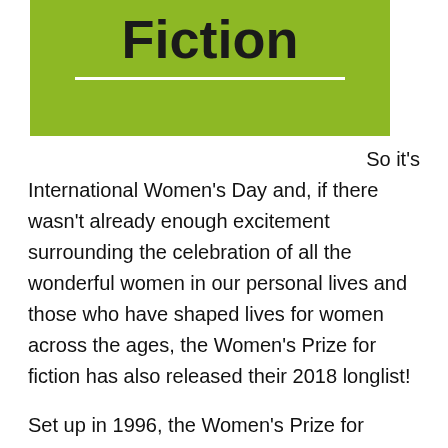[Figure (illustration): Green rectangle with bold text 'Fiction' and a white horizontal underline]
So it's International Women's Day and, if there wasn't already enough excitement surrounding the celebration of all the wonderful women in our personal lives and those who have shaped lives for women across the ages, the Women's Prize for fiction has also released their 2018 longlist!
Set up in 1996, the Women's Prize for Fiction (previously Bailey's Prize and the Orange Prize) 'celebrates excellence, originality and accessibility in women's writing from throughout the world'. The winner receives £30,000 and a limited-edition bronze known as a